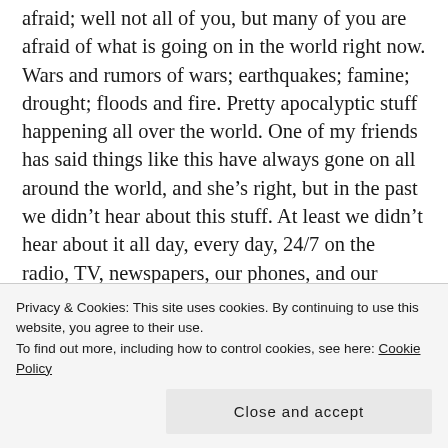afraid; well not all of you, but many of you are afraid of what is going on in the world right now. Wars and rumors of wars; earthquakes; famine; drought; floods and fire. Pretty apocalyptic stuff happening all over the world. One of my friends has said things like this have always gone on all around the world, and she’s right, but in the past we didn’t hear about this stuff. At least we didn’t hear about it all day, every day, 24/7 on the radio, TV, newspapers, our phones, and our computers. We are bombarded with information all the time. It is wearisome and stressful. I for one, have stopped watching TV news. My brain can’t handle all the bad news. The media (all the media) insists on making it worse than it is, and it is bad enough without
Privacy & Cookies: This site uses cookies. By continuing to use this website, you agree to their use.
To find out more, including how to control cookies, see here: Cookie Policy
Close and accept